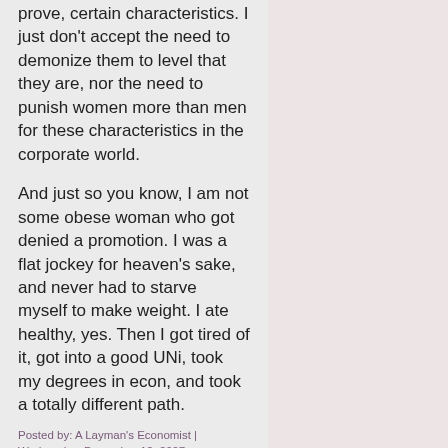prove, certain characteristics. I just don't accept the need to demonize them to level that they are, nor the need to punish women more than men for these characteristics in the corporate world.
And just so you know, I am not some obese woman who got denied a promotion. I was a flat jockey for heaven's sake, and never had to starve myself to make weight. I ate healthy, yes. Then I got tired of it, got into a good UNi, took my degrees in econ, and took a totally different path.
Posted by: A Layman's Economist | Wednesday, December 12, 2007